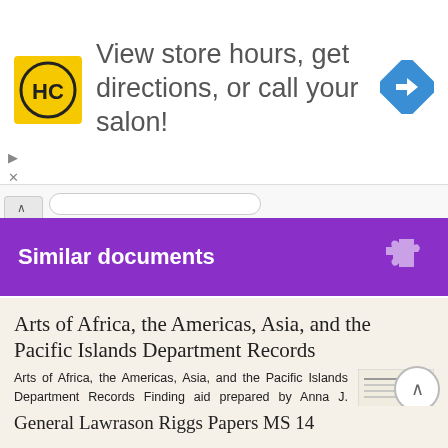[Figure (other): Advertisement banner: HairCuts logo (HC in yellow circle), text 'View store hours, get directions, or call your salon!', navigation arrow icon]
Similar documents
Arts of Africa, the Americas, Asia, and the Pacific Islands Department Records
Arts of Africa, the Americas, Asia, and the Pacific Islands Department Records Finding aid prepared by Anna J. Clarkson This finding aid was produced using the Archivists' Toolkit January 30, 2014 Describing
More information →
General Lawrason Riggs Papers MS 14